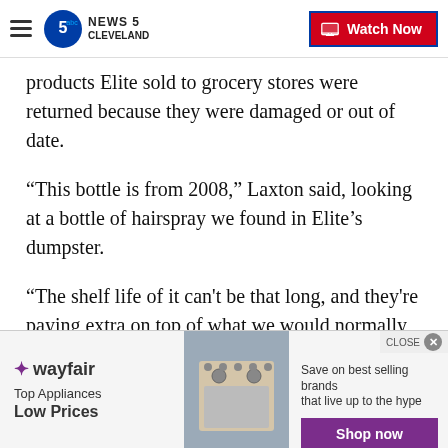News 5 Cleveland — Watch Now
products Elite sold to grocery stores were returned because they were damaged or out of date.
“This bottle is from 2008,” Laxton said, looking at a bottle of hairspray we found in Elite’s dumpster.
“The shelf life of it can’t be that long, and they’re paying extra on top of what we would normally sell it for---for an old product,” Laxton said.
University of South Florida Chemistry professor Dr. Jim Leahy says beauty products can break down in
[Figure (screenshot): Wayfair advertisement banner: Top Appliances Low Prices, with image of a stove, and Shop Now button]